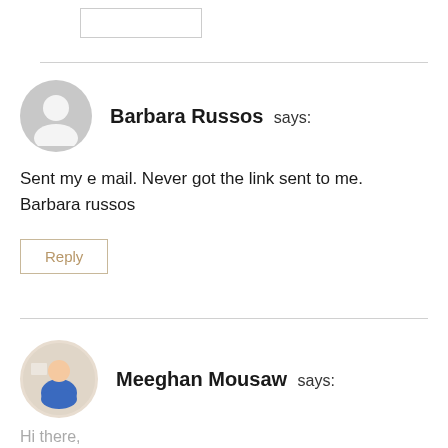Barbara Russos says:
Sent my e mail. Never got the link sent to me. Barbara russos
Reply
Meeghan Mousaw says:
Hi there,